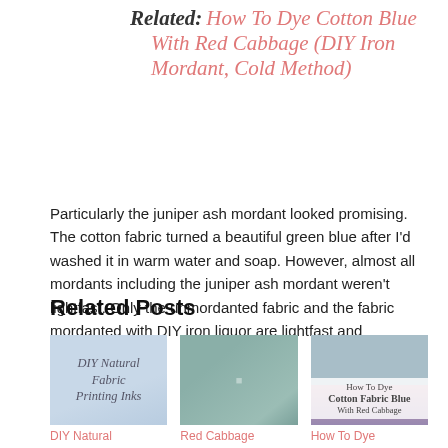Related: How To Dye Cotton Blue With Red Cabbage (DIY Iron Mordant, Cold Method)
Particularly the juniper ash mordant looked promising. The cotton fabric turned a beautiful green blue after I'd washed it in warm water and soap. However, almost all mordants including the juniper ash mordant weren't lightfast. Only the unmordanted fabric and the fabric mordanted with DIY iron liquor are lightfast and washfast.
Related Posts
[Figure (photo): Book cover or card reading 'DIY Natural Fabric Printing Inks' on light blue background with circular shapes]
[Figure (photo): Close-up of teal/grey dyed fabric with pleats or folds]
[Figure (photo): Split image: top shows blue dyed cotton fabric, bottom portion shows text 'How To Dye Cotton Fabric Blue With Red Cabbage']
DIY Natural
Red Cabbage
How To Dye